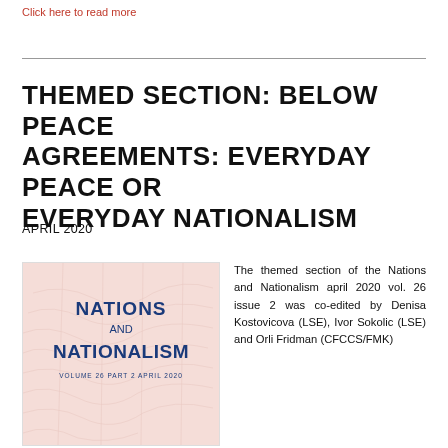Click here to read more
THEMED SECTION: BELOW PEACE AGREEMENTS: EVERYDAY PEACE OR EVERYDAY NATIONALISM
APRIL 2020
[Figure (illustration): Cover of Nations and Nationalism journal, Volume 26 Part 2 April 2020, with pink/salmon background showing a faint map, and bold blue title text.]
The themed section of the Nations and Nationalism april 2020 vol. 26 issue 2 was co-edited by Denisa Kostovicova (LSE), Ivor Sokolic (LSE) and Orli Fridman (CFCCS/FMK)